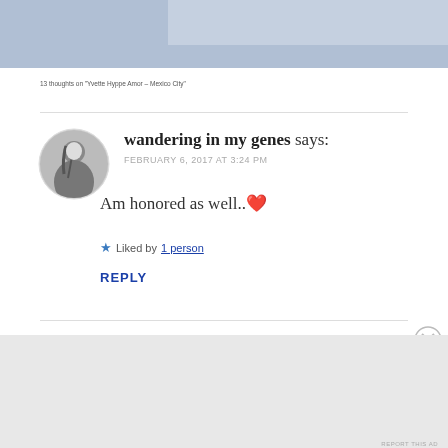13 thoughts on “Yvette Hyppe Amor – Mexico City”
[Figure (photo): Circular avatar photo of a woman in black and white]
wandering in my genes says:
FEBRUARY 6, 2017 AT 3:24 PM
Am honored as well..❤️
★ Liked by 1 person
REPLY
Advertisements
[Figure (screenshot): DuckDuckGo advertisement banner: Search, browse, and email with more privacy. All in One Free App]